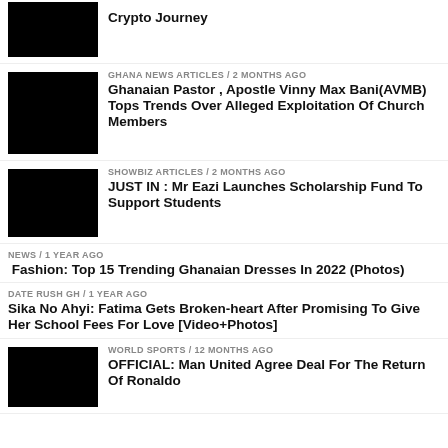[Figure (photo): Black thumbnail image]
Crypto Journey
[Figure (photo): Black thumbnail image]
GHANA NEWS ARTICLES / 2 months ago
Ghanaian Pastor , Apostle Vinny Max Bani(AVMB) Tops Trends Over Alleged Exploitation Of Church Members
[Figure (photo): Black thumbnail image]
SHOWBIZ ARTICLES / 2 months ago
JUST IN : Mr Eazi Launches Scholarship Fund To Support Students
NEWS / 1 year ago
Fashion: Top 15 Trending Ghanaian Dresses In 2022 (Photos)
DATE RUSH GH / 1 year ago
Sika No Ahyi: Fatima Gets Broken-heart After Promising To Give Her School Fees For Love [Video+Photos]
[Figure (photo): Black thumbnail image]
WORLD SPORTS / 12 months ago
OFFICIAL: Man United Agree Deal For The Return Of Ronaldo